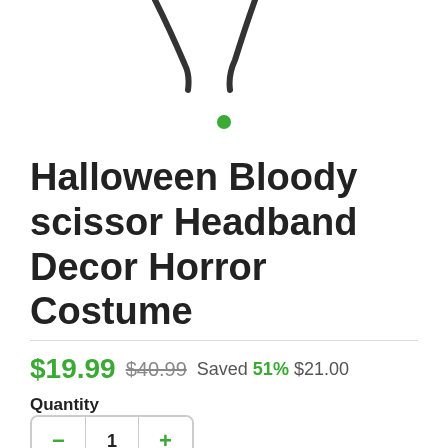[Figure (photo): Partial product image of a Halloween bloody scissor headband, showing the tips of the scissor blades and a small green dot (image carousel indicator) on a white background.]
Halloween Bloody scissor Headband Decor Horror Costume
$19.99 $40.99 Saved 51% $21.00
Quantity
1